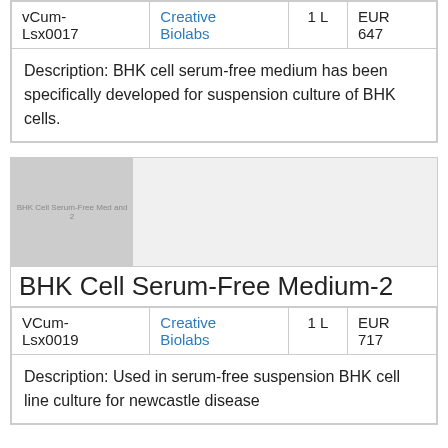| VCum-Lsx0017 | Creative Biolabs | 1 L | EUR 647 |
| Description: BHK cell serum-free medium has been specifically developed for suspension culture of BHK cells. |
[Figure (photo): Product image placeholder showing BHK Cell Serum-Free Medium-2 label]
BHK Cell Serum-Free Medium-2
| VCum-Lsx0019 | Creative Biolabs | 1 L | EUR 717 |
| Description: Used in serum-free suspension BHK cell line culture for newcastle disease |